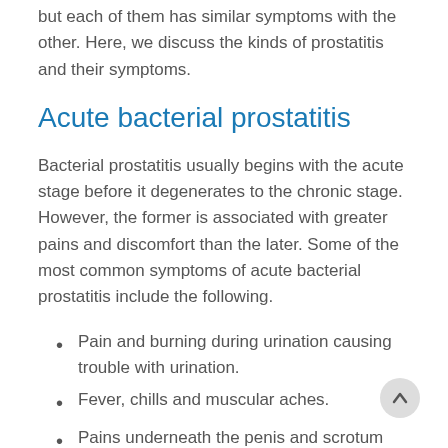but each of them has similar symptoms with the other. Here, we discuss the kinds of prostatitis and their symptoms.
Acute bacterial prostatitis
Bacterial prostatitis usually begins with the acute stage before it degenerates to the chronic stage. However, the former is associated with greater pains and discomfort than the later. Some of the most common symptoms of acute bacterial prostatitis include the following.
Pain and burning during urination causing trouble with urination.
Fever, chills and muscular aches.
Pains underneath the penis and scrotum